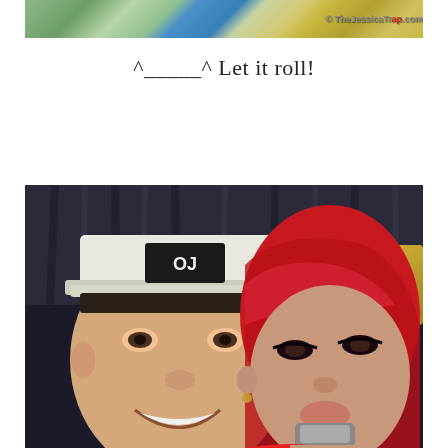[Figure (photo): Top portion of a party/event photo showing bottles, glasses, a blue balloon, and other items on a table. Watermark reads '© TheJessicaTrap.com' in the top right corner.]
^_____^ Let it roll!
[Figure (photo): Close-up selfie photo of a young man wearing a white snapback cap and a young woman with bright red hair, taken in a dimly lit venue.]